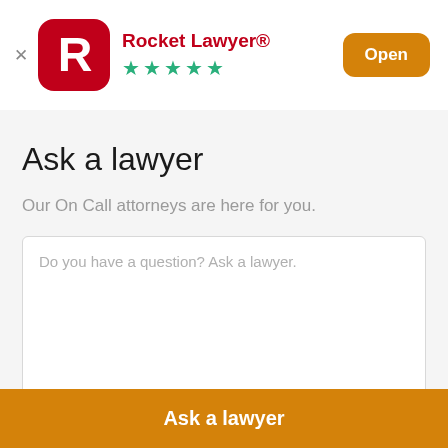[Figure (logo): Rocket Lawyer app banner with red circle logo containing white R letter, app name 'Rocket Lawyer®' in red, five green stars rating, and orange 'Open' button]
Ask a lawyer
Our On Call attorneys are here for you.
Do you have a question? Ask a lawyer.
Characters remaining: 600
Ask a lawyer